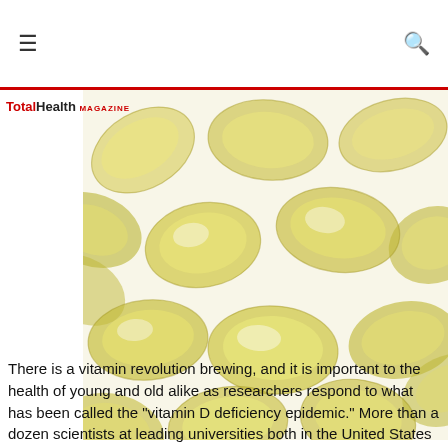≡  [search icon]
[Figure (photo): Close-up photo of multiple yellow/golden vitamin D or fish oil gel capsules scattered on a white background]
Total Health MAGAZINE
There is a vitamin revolution brewing, and it is important to the health of young and old alike as researchers respond to what has been called the "vitamin D deficiency epidemic." More than a dozen scientists at leading universities both in the United States and abroad have minced no words about it: many of us need more vitamin D. (See "Cod liver oil, vitamin A toxicity, frequent respiratory infections, and the vitamin D